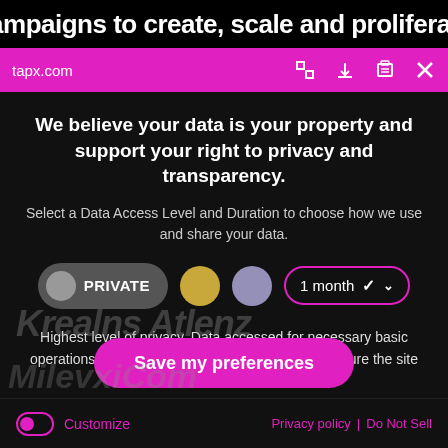campaigns to create, scale and proliferate
tapx.com
We believe your data is your property and support your right to privacy and transparency.
Select a Data Access Level and Duration to choose how we use and share your data.
[Figure (screenshot): Privacy controls row with PRIVATE button (gray toggle), gold circle, purple circle, and 1 month dropdown with pink border]
Highest level of privacy. Data accessed for necessary basic operations only. Data shared with 3rd parties to ensure the site is secure and works on your device
[Figure (screenshot): Save my preferences pink button]
Customize | Privacy policy | Do Not Sell